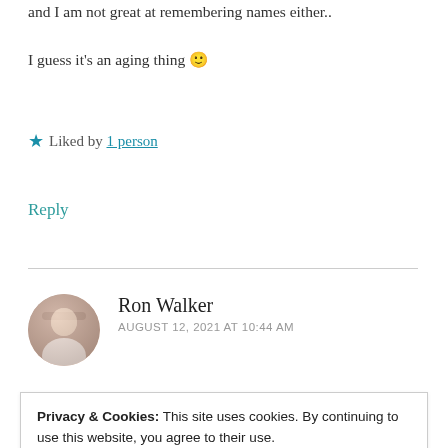and I am not great at remembering names either..
I guess it’s an aging thing 🙂
★ Liked by 1 person
Reply
Ron Walker
AUGUST 12, 2021 AT 10:44 AM
Privacy & Cookies: This site uses cookies. By continuing to use this website, you agree to their use.
To find out more, including how to control cookies, see here:
Our Cookie Policy
Close and accept